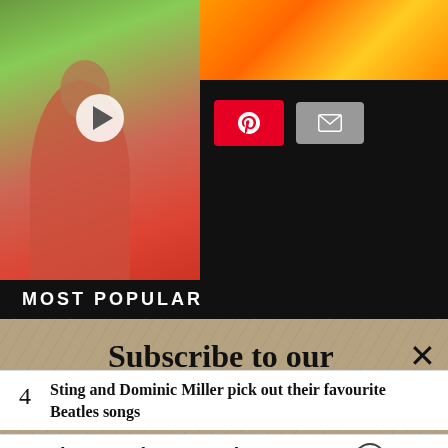[Figure (screenshot): Video thumbnail of a person in pink top outdoors, with play button overlay]
[Figure (screenshot): Pinterest share button (red) and email share button (grey)]
MOST POPULAR
Subscribe to our newsletter
Your e-mail address   SIGN UP
4  Sting and Dominic Miller pick out their favourite Beatles songs
5  The reason why James Earl Jones was uncredited for his role of voicing Darth Vader
[Figure (photo): Flex Seal Family of Products advertisement image]